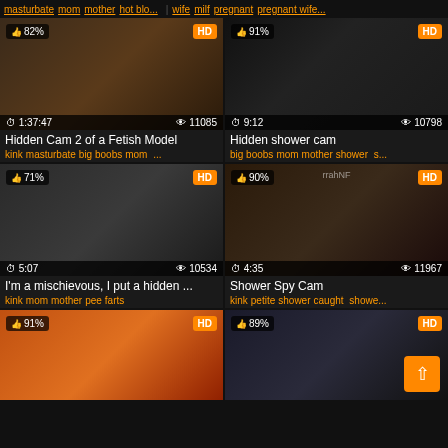masturbate mom mother hot blo... | wife milf pregnant pregnant wife...
[Figure (photo): Video thumbnail - Hidden Cam 2 of a Fetish Model, 82% like, HD, duration 1:37:47, 11085 views]
Hidden Cam 2 of a Fetish Model
kink masturbate big boobs mom ...
[Figure (photo): Video thumbnail - Hidden shower cam, 91% like, HD, duration 9:12, 10798 views]
Hidden shower cam
big boobs mom mother shower s...
[Figure (photo): Video thumbnail - I'm a mischievous I put a hidden ..., 71% like, HD, duration 5:07, 10534 views]
I'm a mischievous, I put a hidden ...
kink mom mother pee farts
[Figure (photo): Video thumbnail - Shower Spy Cam, 90% like, HD, duration 4:35, 11967 views]
Shower Spy Cam
kink petite shower caught showe...
[Figure (photo): Video thumbnail - partial view, 91% like, HD]
[Figure (photo): Video thumbnail - partial view, 89% like, HD]